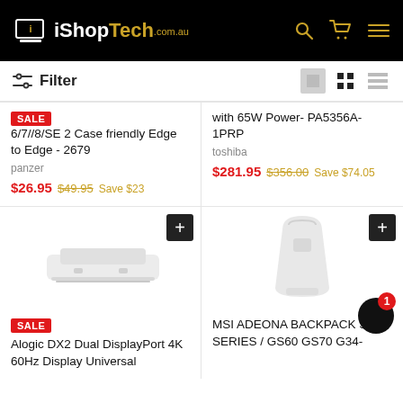[Figure (logo): iShopTech.com.au logo with laptop icon, white and gold text on black background]
Filter
6/7//8/SE 2 Case friendly Edge to Edge - 2679
panzer
$26.95 $49.95 Save $23
with 65W Power- PA5356A-1PRP
toshiba
$281.95 $356.00 Save $74.05
[Figure (photo): Alogic DX2 Dual DisplayPort docking station, white device on white background]
SALE
Alogic DX2 Dual DisplayPort 4K 60Hz Display Universal
[Figure (photo): MSI Adeona Backpack Slim Series product, white bag on white background]
MSI ADEONA BACKPACK SLIM SERIES / GS60 GS70 G34-